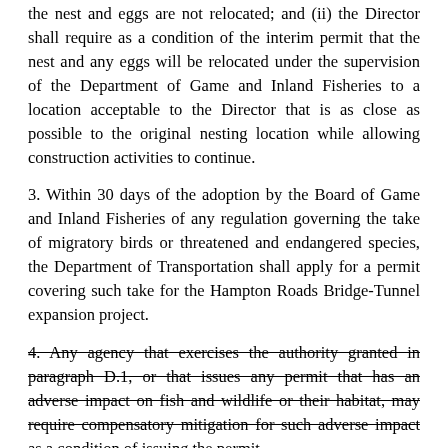the nest and eggs are not relocated; and (ii) the Director shall require as a condition of the interim permit that the nest and any eggs will be relocated under the supervision of the Department of Game and Inland Fisheries to a location acceptable to the Director that is as close as possible to the original nesting location while allowing construction activities to continue.
3. Within 30 days of the adoption by the Board of Game and Inland Fisheries of any regulation governing the take of migratory birds or threatened and endangered species, the Department of Transportation shall apply for a permit covering such take for the Hampton Roads Bridge-Tunnel expansion project.
4. Any agency that exercises the authority granted in paragraph D.1, or that issues any permit that has an adverse impact on fish and wildlife or their habitat, may require compensatory mitigation for such adverse impact as a condition of issuing the permit.